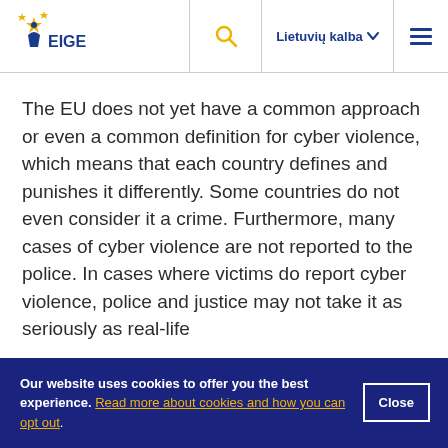EIGE | Lietuvių kalba
The EU does not yet have a common approach or even a common definition for cyber violence, which means that each country defines and punishes it differently. Some countries do not even consider it a crime. Furthermore, many cases of cyber violence are not reported to the police. In cases where victims do report cyber violence, police and justice may not take it as seriously as real-life
Our website uses cookies to offer you the best experience. Read more about cookies and how you can opt out.